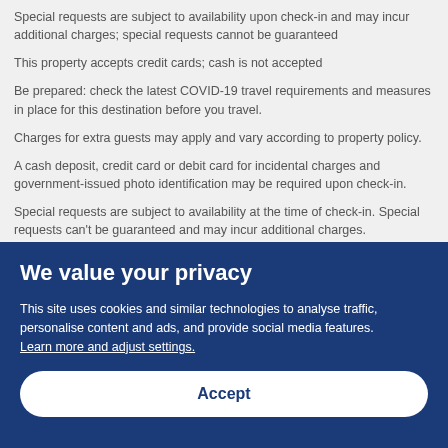Special requests are subject to availability upon check-in and may incur additional charges; special requests cannot be guaranteed
This property accepts credit cards; cash is not accepted
Be prepared: check the latest COVID-19 travel requirements and measures in place for this destination before you travel.
Charges for extra guests may apply and vary according to property policy.
A cash deposit, credit card or debit card for incidental charges and government-issued photo identification may be required upon check-in.
Special requests are subject to availability at the time of check-in. Special requests can't be guaranteed and may incur additional charges.
This property is managed by a professional host. The provision of housing is linked to their trade, business or profession. This may...
We value your privacy
This site uses cookies and similar technologies to analyse traffic, personalise content and ads, and provide social media features. Learn more and adjust settings.
Accept